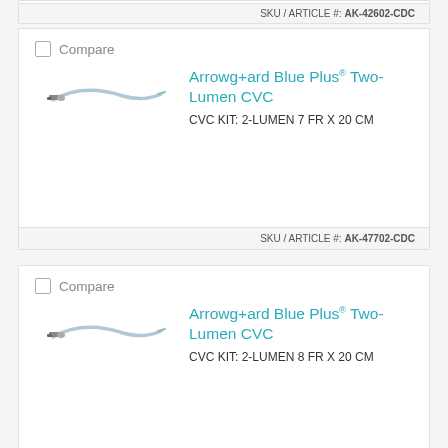SKU / ARTICLE #: AK-42602-CDC
Compare
Arrowg+ard Blue Plus® Two-Lumen CVC
CVC KIT: 2-LUMEN 7 FR X 20 CM
SKU / ARTICLE #: AK-47702-CDC
Compare
Arrowg+ard Blue Plus® Two-Lumen CVC
CVC KIT: 2-LUMEN 8 FR X 20 CM